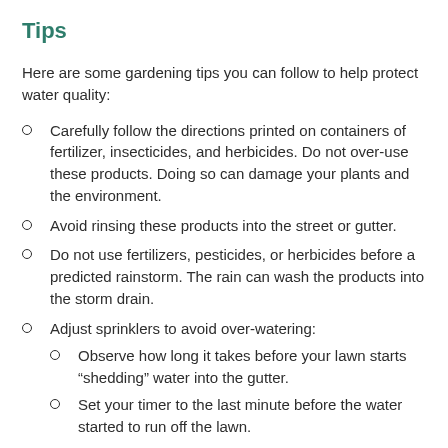Tips
Here are some gardening tips you can follow to help protect water quality:
Carefully follow the directions printed on containers of fertilizer, insecticides, and herbicides. Do not over-use these products. Doing so can damage your plants and the environment.
Avoid rinsing these products into the street or gutter.
Do not use fertilizers, pesticides, or herbicides before a predicted rainstorm. The rain can wash the products into the storm drain.
Adjust sprinklers to avoid over-watering:
Observe how long it takes before your lawn starts “shedding” water into the gutter.
Set your timer to the last minute before the water started to run off the lawn.